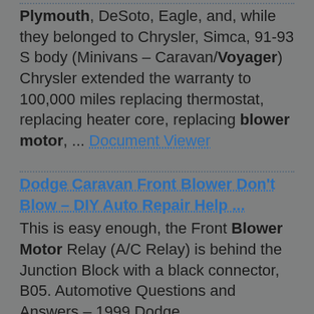Plymouth, DeSoto, Eagle, and, while they belonged to Chrysler, Simca, 91-93 S body (Minivans – Caravan/Voyager) Chrysler extended the warranty to 100,000 miles replacing thermostat, replacing heater core, replacing blower motor, ... Document Viewer
Dodge Caravan Front Blower Don't Blow – DIY Auto Repair Help ...
This is easy enough, the Front Blower Motor Relay (A/C Relay) is behind the Junction Block with a black connector, B05. Automotive Questions and Answers – 1999 Dodge